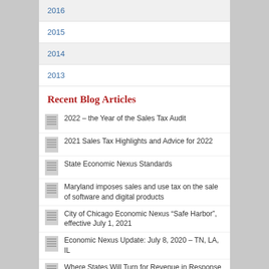2016
2015
2014
2013
Recent Blog Articles
2022 – the Year of the Sales Tax Audit
2021 Sales Tax Highlights and Advice for 2022
State Economic Nexus Standards
Maryland imposes sales and use tax on the sale of software and digital products
City of Chicago Economic Nexus “Safe Harbor”, effective July 1, 2021
Economic Nexus Update: July 8, 2020 – TN, LA, IL
Where States Will Turn for Revenue in Response to Declining Sales Tax Collections?
Sales Tax Strategies During the Economic